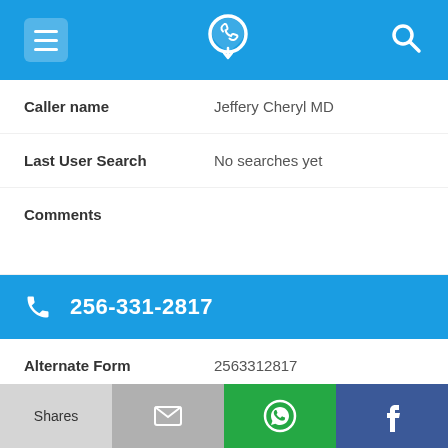[Figure (screenshot): Blue top navigation bar with hamburger menu icon, phone/location logo in center, and search icon on right]
| Caller name | Jeffery Cheryl MD |
| Last User Search | No searches yet |
| Comments |  |
256-331-2817
| Alternate Form | 2563312817 |
| Caller name | Georgia Poultry Equipment |
| Last User Search | No searches yet |
[Figure (screenshot): Bottom action bar with four buttons: Shares (light grey), Email (grey with envelope), WhatsApp (green with logo), Facebook (dark blue with f logo)]